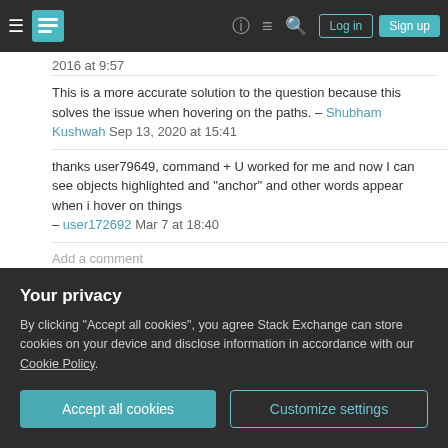Stack Exchange navigation header with Log in and Sign up buttons
2016 at 9:57
This is a more accurate solution to the question because this solves the issue when hovering on the paths. – Shubham Kushwah Sep 13, 2020 at 15:41
thanks user79649, command + U worked for me and now I can see objects highlighted and "anchor" and other words appear when i hover on things – user172692 Mar 7 at 18:40
Add a comment
I just had the same problem - turning off Smart
Your privacy
By clicking "Accept all cookies", you agree Stack Exchange can store cookies on your device and disclose information in accordance with our Cookie Policy.
Accept all cookies  Customize settings